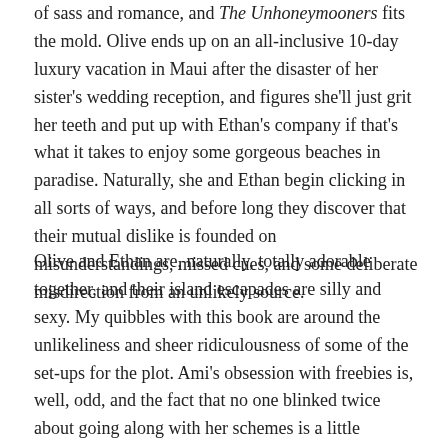of sass and romance, and The Unhoneymooners fits the mold. Olive ends up on an all-inclusive 10-day luxury vacation in Maui after the disaster of her sister's wedding reception, and figures she'll just grit her teeth and put up with Ethan's company if that's what it takes to enjoy some gorgeous beaches in paradise. Naturally, she and Ethan begin clicking in all sorts of ways, and before long they discover that their mutual dislike is founded on misunderstandings, missed cues, and some deliberate misdirection from an unlikely source.
Olive and Ethan are, naturally, totally adorable together, and their island escapades are silly and sexy. My quibbles with this book are around the unlikeliness and sheer ridiculousness of some of the set-ups for the plot. Ami's obsession with freebies is, well, odd, and the fact that no one blinked twice about going along with her schemes is a little worrying. I found it really unlikely that Olive's new boss — from back home in Minnesota — would show up at the exact same Maui resort as she did, and I just didn't think her reasons for deception were all that convincing. (I'm also not convinced that his later decision to fire her for dishonesty based on something that